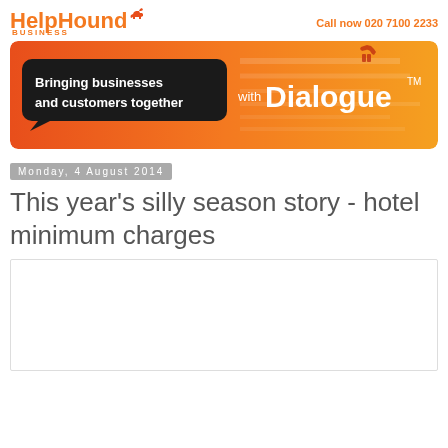[Figure (logo): HelpHound Business logo with orange dog silhouette and orange text]
Call now 020 7100 2233
[Figure (illustration): Orange gradient banner with black speech bubble reading 'Bringing businesses and customers together' and text 'with Dialogue™' on the right]
Monday, 4 August 2014
This year's silly season story - hotel minimum charges
[Figure (photo): Empty white image placeholder box with light border]